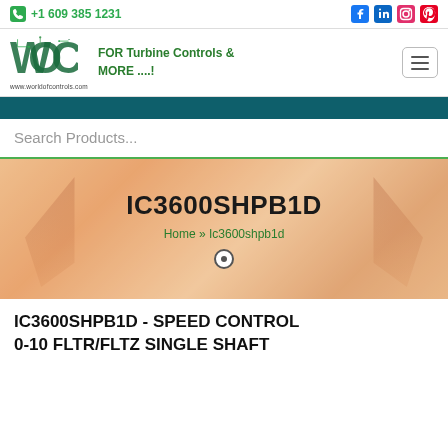+1 609 385 1231
[Figure (logo): WOC (World of Controls) logo with circuit board design and URL www.worldofcontrols.com]
FOR Turbine Controls & MORE ....!
Search Products...
IC3600SHPB1D
Home » Ic3600shpb1d
IC3600SHPB1D - SPEED CONTROL 0-10 FLTR/FLTZ SINGLE SHAFT